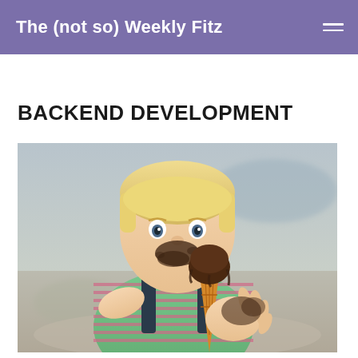The (not so) Weekly Fitz
BACKEND DEVELOPMENT
[Figure (photo): A young blonde toddler eating a chocolate ice cream cone, with chocolate smeared on their face and hand, wearing a green striped shirt with dark overalls, photographed outdoors with a blurred background.]